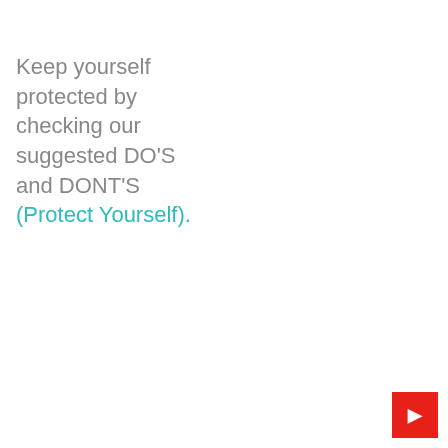Keep yourself protected by checking our suggested DO'S and DONT'S (Protect Yourself).